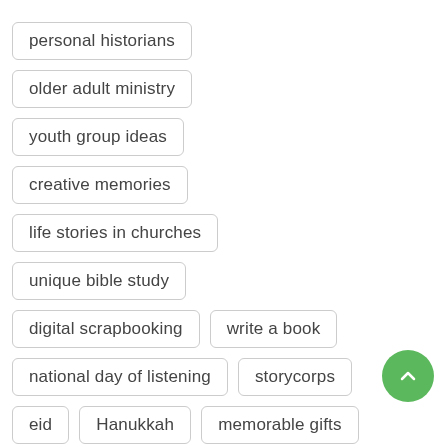personal historians
older adult ministry
youth group ideas
creative memories
life stories in churches
unique bible study
digital scrapbooking
write a book
national day of listening
storycorps
eid
Hanukkah
memorable gifts
unique gifts
neurology